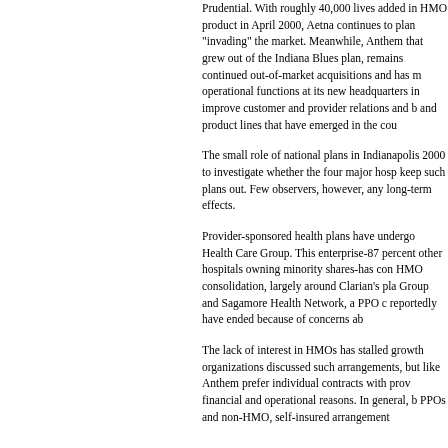Prudential. With roughly 40,000 lives added in HMO product in April 2000, Aetna continues to plan "invading" the market. Meanwhile, Anthem that grew out of the Indiana Blues plan, remains continued out-of-market acquisitions and has m operational functions at its new headquarters in improve customer and provider relations and b and product lines that have emerged in the cou
The small role of national plans in Indianapolis 2000 to investigate whether the four major hosp keep such plans out. Few observers, however, any long-term effects.
Provider-sponsored health plans have undergo Health Care Group. This enterprise-87 percent other hospitals owning minority shares-has con HMO consolidation, largely around Clarian's pla Group and Sagamore Health Network, a PPO c reportedly have ended because of concerns ab
The lack of interest in HMOs has stalled growth organizations discussed such arrangements, but like Anthem prefer individual contracts with prov financial and operational reasons. In general, b PPOs and non-HMO, self-insured arrangement